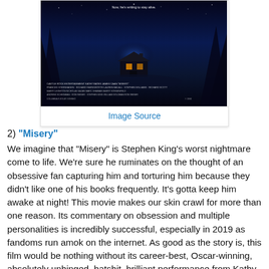[Figure (photo): Movie poster for 'Misery' showing a dark blue-toned image of a snowy house/cabin at night with text 'Now, he's writing to stay alive.' and film credits at the bottom.]
Image Source
2) "Misery"
We imagine that "Misery" is Stephen King's worst nightmare come to life. We're sure he ruminates on the thought of an obsessive fan capturing him and torturing him because they didn't like one of his books frequently. It's gotta keep him awake at night! This movie makes our skin crawl for more than one reason. Its commentary on obsession and multiple personalities is incredibly successful, especially in 2019 as fandoms run amok on the internet. As good as the story is, this film would be nothing without its career-best, Oscar-winning, absolutely unhinged, batshit, brilliant performance from Kathy Bates...well, that and the hobbling scene, which will be forever ingrained in the memories of every person